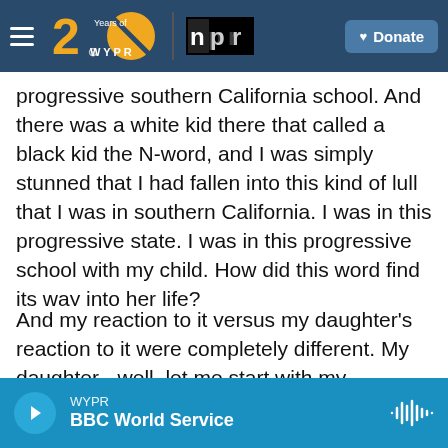[Figure (screenshot): WYPR 20 Years of WYPR logo with NPR logo and Donate button in a dark blue navigation bar]
progressive southern California school. And there was a white kid there that called a black kid the N-word, and I was simply stunned that I had fallen into this kind of lull that I was in southern California. I was in this progressive state. I was in this progressive school with my child. How did this word find its way into her life?
And my reaction to it versus my daughter's reaction to it were completely different. My daughter - well, let me start with my reaction. I was furious. I was hurt. I was enraged. I was like, I don't want to have anything to do with this kid. I don't want to have
[Figure (screenshot): Audio player bar showing WYPR BBC World Service with play button and waveform icon on blue background]